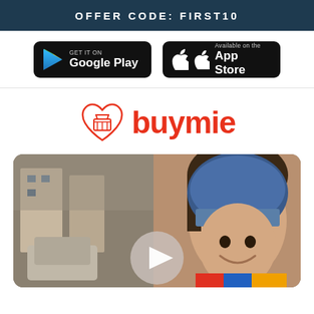OFFER CODE: FIRST10
[Figure (logo): Google Play store badge - black rounded rectangle with Google Play logo and text 'GET IT ON Google Play']
[Figure (logo): Apple App Store badge - black rounded rectangle with Apple logo and text 'Available on the App Store']
[Figure (logo): Buymie logo - red heart with shopping basket inside, and red italic text 'buymie']
[Figure (photo): Video thumbnail showing a smiling boy wearing a blue helmet and colorful jacket, with a play button overlay in the center. Street scene in background.]